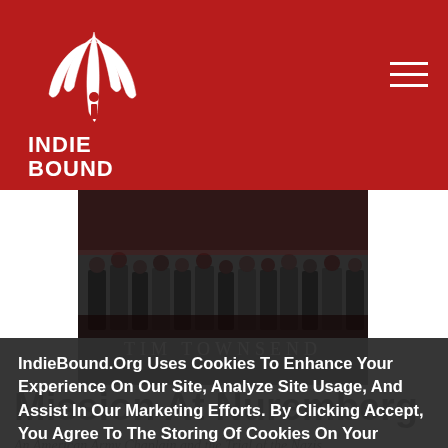IndieBound logo and navigation header
[Figure (screenshot): Book cover for Mission at Nuremberg by Tim Townsend showing historical courtroom photograph with text TIM TOWNSEND]
Mission At Nuremberg
An American Army Chaplain and the Trial of the Nazis
IndieBound.Org Uses Cookies To Enhance Your Experience On Our Site, Analyze Site Usage, And Assist In Our Marketing Efforts. By Clicking Accept, You Agree To The Storing Of Cookies On Your Device. View Our Cookie Policy.
Give me more info